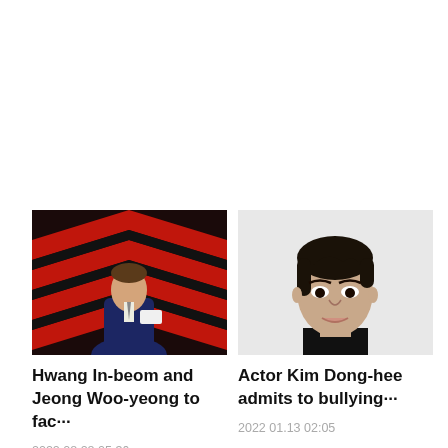[Figure (photo): Man in dark suit holding up a card at a red chevron-patterned event backdrop]
Hwang In-beom and Jeong Woo-yeong to fac···
2022 08.28 05:36
[Figure (photo): Young Korean actor with dark hair against a light grey background — Kim Dong-hee]
Actor Kim Dong-hee admits to bullying···
2022 01.13 02:05